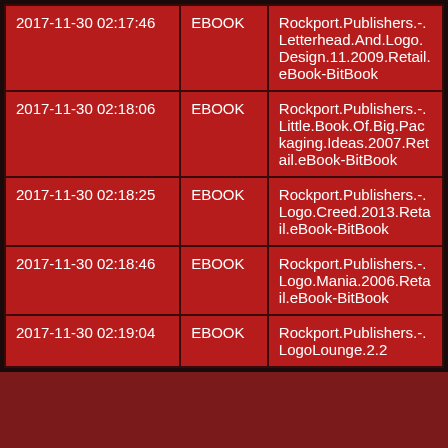| 2017-11-30 02:17:46 | EBOOK | Rockport.Publishers.-.Letterhead.And.Logo.Design.11.2009.Retail.eBook-BitBook |
| 2017-11-30 02:18:06 | EBOOK | Rockport.Publishers.-.Little.Book.Of.Big.Packaging.Ideas.2007.Retail.eBook-BitBook |
| 2017-11-30 02:18:25 | EBOOK | Rockport.Publishers.-.Logo.Creed.2013.Retail.eBook-BitBook |
| 2017-11-30 02:18:46 | EBOOK | Rockport.Publishers.-.Logo.Mania.2006.Retail.eBook-BitBook |
| 2017-11-30 02:19:04 | EBOOK | Rockport.Publishers.-.LogoLounge.2.2 |